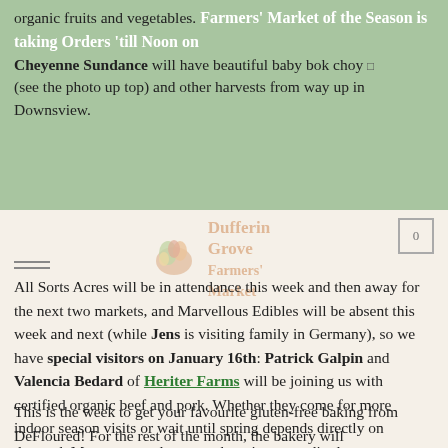organic fruits and vegetables. Farmers' Market of the Season is taking Orders 'till Noon on Tuesday in Cheyenne Sundance will have beautiful baby bok choy (see the photo up top) and other harvests from way up in Downsview.
[Figure (logo): Dufferin Grove Farmers' Market logo with basket of vegetables icon]
All Sorts Acres will be in attendance this week and then away for the next two markets, and Marvellous Edibles will be absent this week and next (while Jens is visiting family in Germany), so we have special visitors on January 16th: Patrick Galpin and Valencia Bedard of Heriter Farms will be joining us with certified organic beef and pork. Whether they come for more indoor season visits or wait until spring depends directly on demand. Meat-eaters, plan your shopping accordingly.
This is the week to get your favourite gluten-free baking from DeFloured! For the rest of the month, the bakery will